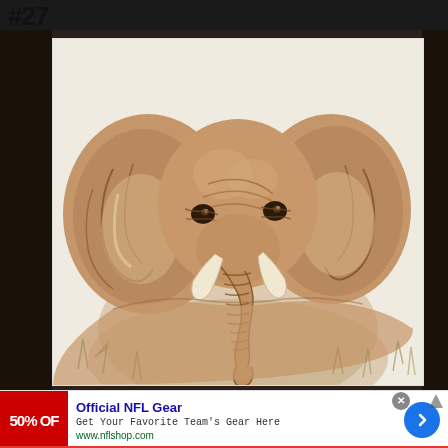#27
[Figure (illustration): A detailed painting of an elephant on a white canvas. The elephant is depicted from the front, showing its large ears spread wide, prominent tusks, and curled trunk. The painting uses warm brown and sepia tones on a cream/white background, with grass sketched lightly at the bottom. Dark wood background visible around the canvas.]
[Figure (screenshot): Advertisement banner for Official NFL Gear. Left side shows a red banner with white text '50% OF' (cut off). Center shows text 'Official NFL Gear' in blue bold, 'Get Your Favorite Team's Gear Here' in black, and 'www.nflshop.com' in green. Right side shows a blue circular button with a right-pointing arrow. A grey close/X button appears in the upper right corner of the ad.]